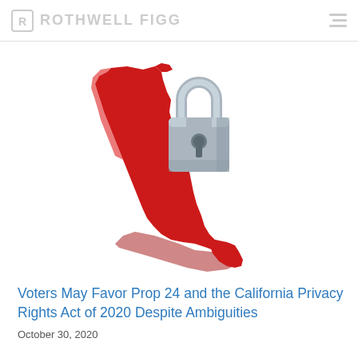ROTHWELL FIGG
[Figure (illustration): 3D red shape of the state of California with a grey padlock overlaid on top, symbolizing privacy/data protection in California]
Voters May Favor Prop 24 and the California Privacy Rights Act of 2020 Despite Ambiguities
October 30, 2020